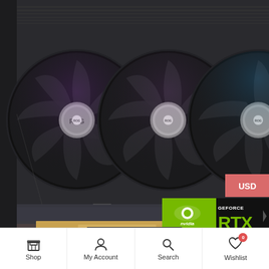[Figure (photo): ASUS ROG Strix GeForce RTX 3060 graphics card with three fans with ROG logo badges, RGB lighting in purple and blue tones. NVIDIA GeForce RTX badge overlay on lower right. USD currency badge in upper right corner.]
ASUS
ASUS ROG Strix GeForce RTX 3060 12GB GDDR6 PCI Express 4.0 x16 Video Card ROG-STRIX-RTX3060-O12G-..
Shop  My Account  Search  Wishlist